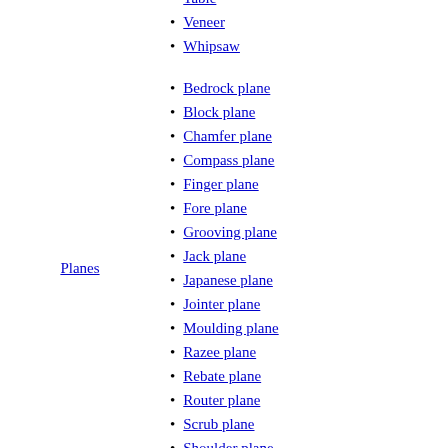Ripsaw
Scroll
Table
Veneer
Whipsaw
Planes
Bedrock plane
Block plane
Chamfer plane
Compass plane
Finger plane
Fore plane
Grooving plane
Jack plane
Japanese plane
Jointer plane
Moulding plane
Razee plane
Rebate plane
Router plane
Scrub plane
Shoulder plane
Smoothing plane
Spokeshave
Surform